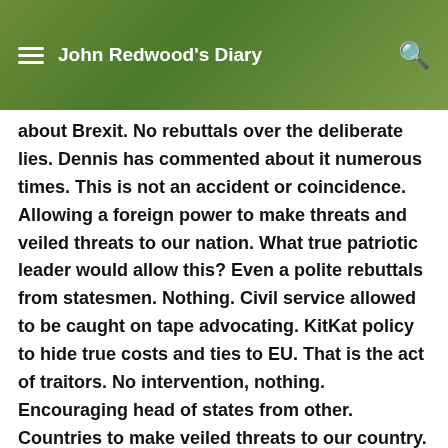John Redwood's Diary
about Brexit. No rebuttals over the deliberate lies. Dennis has commented about it numerous times. This is not an accident or coincidence. Allowing a foreign power to make threats and veiled threats to our nation. What true patriotic leader would allow this? Even a polite rebuttals from statesmen. Nothing. Civil service allowed to be caught on tape advocating. KitKat policy to hide true costs and ties to EU. That is the act of traitors. No intervention, nothing. Encouraging head of states from other. Countries to make veiled threats to our country. This is disgusting behaviour by your party leadership.
These two are directly acting against people and our national interest. To propose keeping the U.K. as a vassal state is treasonous. To scare people about food and medicine when not true is treasonous. Today we read stories the miliatary